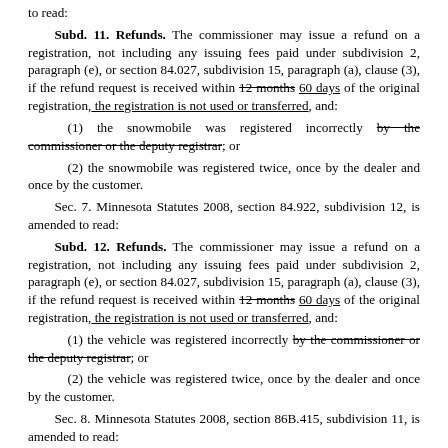to read:
Subd. 11. Refunds. The commissioner may issue a refund on a registration, not including any issuing fees paid under subdivision 2, paragraph (e), or section 84.027, subdivision 15, paragraph (a), clause (3), if the refund request is received within 12 months 60 days of the original registration, the registration is not used or transferred, and:
(1) the snowmobile was registered incorrectly by the commissioner or the deputy registrar; or
(2) the snowmobile was registered twice, once by the dealer and once by the customer.
Sec. 7. Minnesota Statutes 2008, section 84.922, subdivision 12, is amended to read:
Subd. 12. Refunds. The commissioner may issue a refund on a registration, not including any issuing fees paid under subdivision 2, paragraph (e), or section 84.027, subdivision 15, paragraph (a), clause (3), if the refund request is received within 12 months 60 days of the original registration, the registration is not used or transferred, and:
(1) the vehicle was registered incorrectly by the commissioner or the deputy registrar; or
(2) the vehicle was registered twice, once by the dealer and once by the customer.
Sec. 8. Minnesota Statutes 2008, section 86B.415, subdivision 11, is amended to read:
Subd. 11. Refunds. The commissioner may issue a refund on a license or title, not including any issuing fees paid under subdivision 8 or section 84.027, subdivision 15, paragraph (a), clause (3), or 86B.870, subdivision 1, paragraph